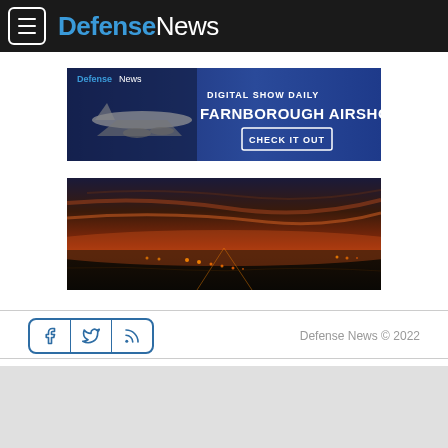DefenseNews
[Figure (photo): DefenseNews Digital Show Daily Farnborough Airshow advertisement banner with aircraft image and 'CHECK IT OUT' button]
[Figure (photo): Aerial nighttime/sunset photograph of an airfield or runway with orange-red dramatic sky and runway lights visible]
Defense News © 2022